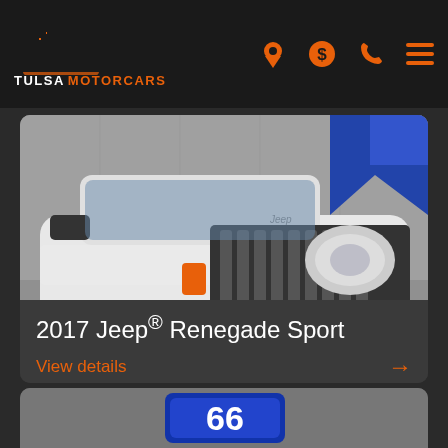[Figure (logo): Tulsa Motorcars logo with city skyline silhouette and navigation icons (location pin, dollar sign, phone, hamburger menu)]
[Figure (photo): White 2017 Jeep Renegade Sport SUV front 3/4 view in a dealership lot with blue flag in background]
2017 Jeep® Renegade Sport
View details
[Figure (photo): Partial view of a second vehicle listing card at the bottom of the page showing a Route 66 sign]